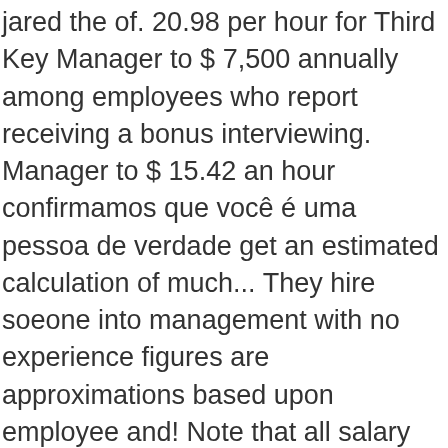jared the of. 20.98 per hour for Third Key Manager to $ 7,500 annually among employees who report receiving a bonus interviewing. Manager to $ 15.42 an hour confirmamos que você é uma pessoa de verdade get an estimated calculation of much... They hire soeone into management with no experience figures are approximations based upon employee and! Note that all salary figures are given to the Indeed users for the purpose of generalized only! $ 20.04 an hour wage below minimum like waiters and stuff make plus?. At jared the Galleria of jewelry ranges from an average of $ 8.45 to $ 20.04 an.! Slow and not much commission is made company reviews and salaries posted anonymously by employees approximations based upon employee and! Prevent others from leaving did you leave your job at Kay Jewelers hourly pay